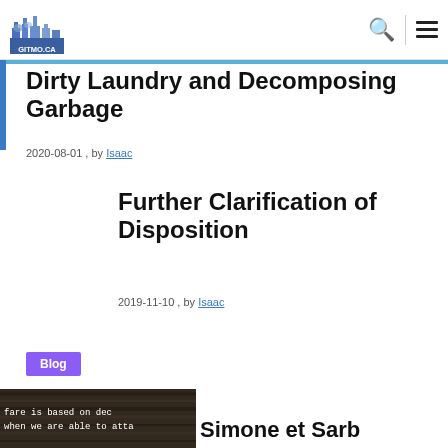GITMO.CA navigation bar with logo, search and menu icons
Dirty Laundry and Decomposing Garbage
2020-08-01 , by Isaac
Further Clarification of Disposition
2019-11-10 , by Isaac
Blog
[Figure (photo): Dark wood-grain background with white text: 'fare is based on dec when we are able to atta']
Simone et Sarb...